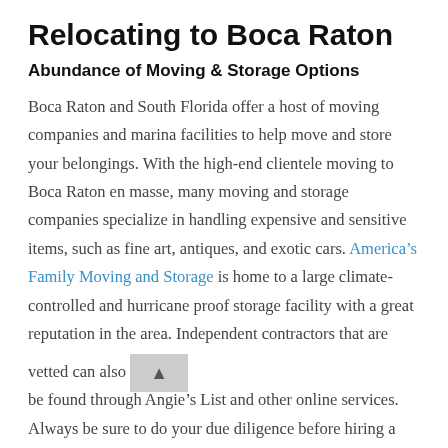Relocating to Boca Raton
Abundance of Moving & Storage Options
Boca Raton and South Florida offer a host of moving companies and marina facilities to help move and store your belongings. With the high-end clientele moving to Boca Raton en masse, many moving and storage companies specialize in handling expensive and sensitive items, such as fine art, antiques, and exotic cars. America’s Family Moving and Storage is home to a large climate-controlled and hurricane proof storage facility with a great reputation in the area. Independent contractors that are vetted can also be found through Angie’s List and other online services. Always be sure to do your due diligence before hiring a moving company in Boca Raton, but